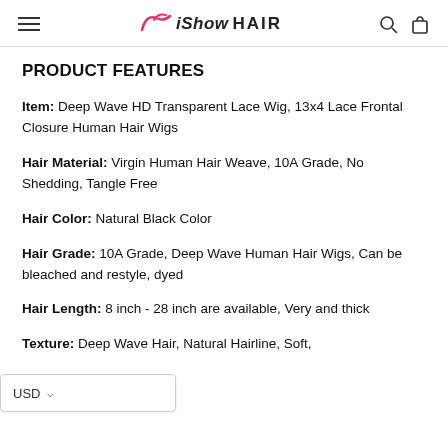iShow Hair
PRODUCT FEATURES
Item: Deep Wave HD Transparent Lace Wig, 13x4 Lace Frontal Closure Human Hair Wigs
Hair Material: Virgin Human Hair Weave, 10A Grade, No Shedding, Tangle Free
Hair Color: Natural Black Color
Hair Grade: 10A Grade, Deep Wave Human Hair Wigs, Can be bleached and restyle, dyed
Hair Length: 8 inch - 28 inch are available, Very and thick
Texture: Deep Wave Hair, Natural Hairline, Soft,
USD